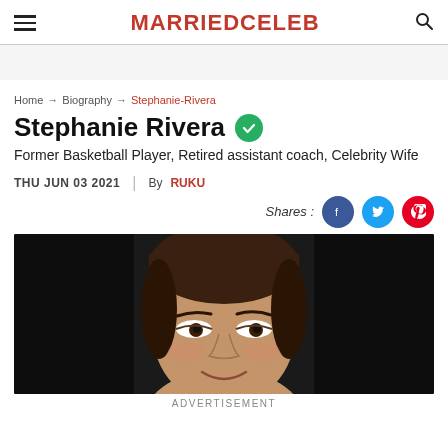MARRIEDCELEB
Home → Biography → Stephanie-Rivera
Stephanie Rivera
Former Basketball Player, Retired assistant coach, Celebrity Wife
THU JUN 03 2021 | By RUKU
Shares:
[Figure (photo): Close-up photo of Stephanie Rivera, a woman with brown hair pulled back, smiling, against a dark background]
ADVERTISEMENT